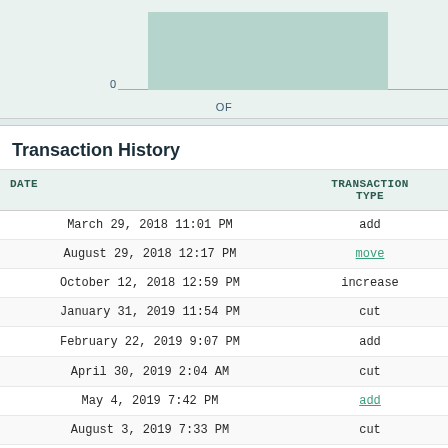[Figure (bar-chart): Partial bar chart visible at top of page, showing a teal/green bar. X-axis label shows '0' and there is an 'OF' label below the axis.]
Transaction History
| DATE | TRANSACTION TYPE | TEAM |
| --- | --- | --- |
| March 29, 2018 11:01 PM | add | Th... |
| August 29, 2018 12:17 PM | move | All You Can Ich... |
| October 12, 2018 12:59 PM | increase | All ... |
| January 31, 2019 11:54 PM | cut | All ... |
| February 22, 2019 9:07 PM | add | 🔒 The L... |
| April 30, 2019 2:04 AM | cut | 🔒 The L... |
| May 4, 2019 7:42 PM | add | Wh... |
| August 3, 2019 7:33 PM | cut | Wh... |
| August 15, 2019 10:50 AM | add | Kne... |
| October 4, 2019 5:03 PM | increase | Kne... |
| December 17, 2019 8:49 PM | move | Whipping Boys... |